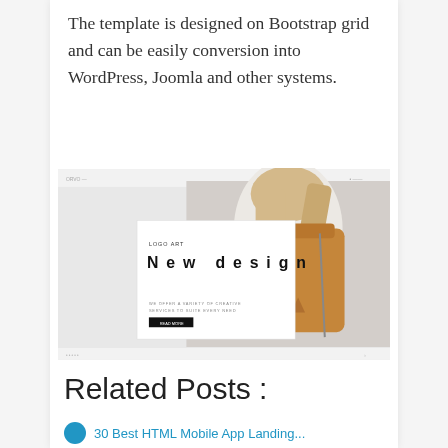The template is designed on Bootstrap grid and can be easily conversion into WordPress, Joomla and other systems.
[Figure (screenshot): Screenshot of a website template featuring a fashion/bag store design with a leather backpack photo, overlaid with a 'LOGO ART / New design' text panel and small body text block.]
Related Posts :
30 Best HTML Mobile App Landing...